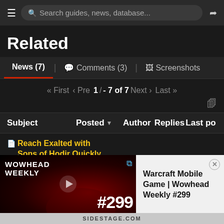Search guides, news, database...
Related
News (7) | Comments (3) | Screenshots
« First ‹ Prev 1 - 7 of 7 Next › Last »
| Subject | Posted | Author | Replies | Last po |
| --- | --- | --- | --- | --- |
| Reach Exalted with Sons of Hodir Quickly |  |  |  |  |
[Figure (screenshot): Wowhead Weekly #299 video thumbnail with two anime-style characters and the text WOWHEAD WEEKLY #299, alongside a popup showing title 'Warcraft Mobile Game | Wowhead Weekly #299']